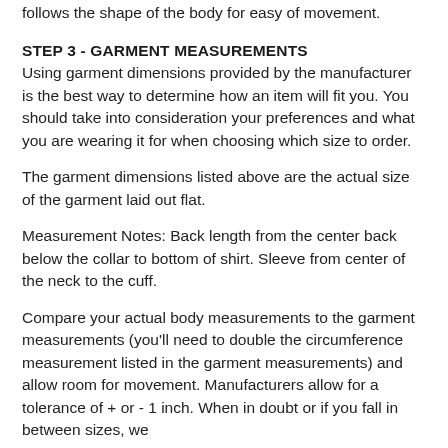follows the shape of the body for easy of movement.
STEP 3 - GARMENT MEASUREMENTS
Using garment dimensions provided by the manufacturer is the best way to determine how an item will fit you. You should take into consideration your preferences and what you are wearing it for when choosing which size to order.
The garment dimensions listed above are the actual size of the garment laid out flat.
Measurement Notes: Back length from the center back below the collar to bottom of shirt. Sleeve from center of the neck to the cuff.
Compare your actual body measurements to the garment measurements (you'll need to double the circumference measurement listed in the garment measurements) and allow room for movement. Manufacturers allow for a tolerance of + or - 1 inch. When in doubt or if you fall in between sizes, we